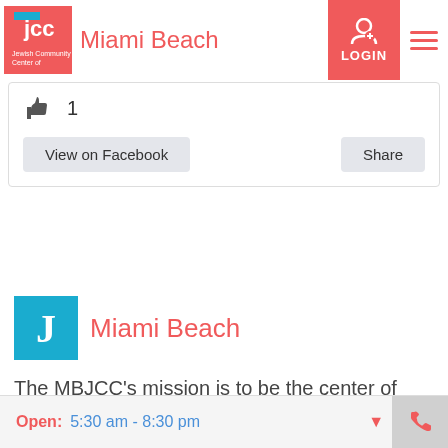changed who can see it or it's been
[Figure (screenshot): JCC Miami Beach navigation bar with logo, title, LOGIN button, and hamburger menu]
[Figure (screenshot): Facebook like count (thumbs up icon with 1) and buttons: View on Facebook, Share]
[Figure (logo): JCC Miami Beach J logo in teal square with Miami Beach text in red]
The MBJCC's mission is to be the center of social.
Open:  5:30 am - 8:30 pm